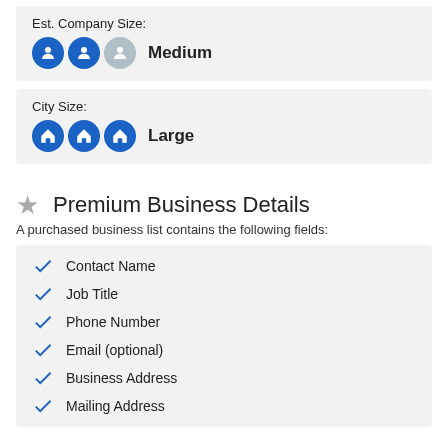Est. Company Size: Medium
City Size: Large
Premium Business Details
A purchased business list contains the following fields:
Contact Name
Job Title
Phone Number
Email (optional)
Business Address
Mailing Address